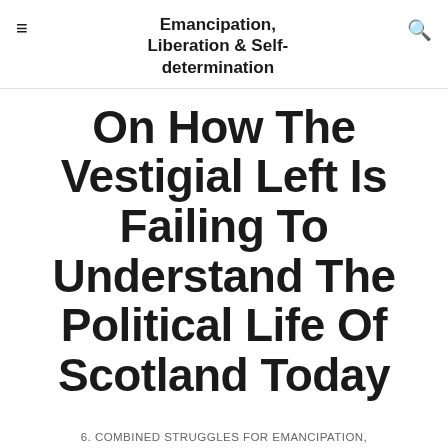Emancipation, Liberation & Self-determination
On How The Vestigial Left Is Failing To Understand The Political Life Of Scotland Today
6. COMBINED STRUGGLES FOR EMANCIPATION, LIBERATION AND SELF-DETERMINATION